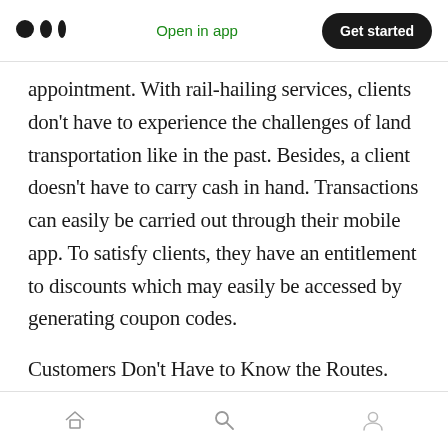Open in app  Get started
appointment. With rail-hailing services, clients don't have to experience the challenges of land transportation like in the past. Besides, a client doesn't have to carry cash in hand. Transactions can easily be carried out through their mobile app. To satisfy clients, they have an entitlement to discounts which may easily be accessed by generating coupon codes.
Customers Don't Have to Know the Routes.
Individuals who aren't knowledgeable about various routes or those who are entirely new to